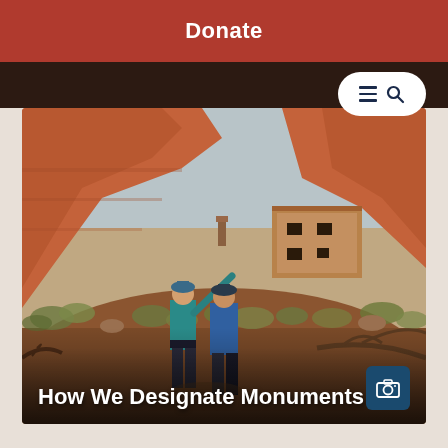Donate
[Figure (photo): Two people standing in a desert canyon landscape with red rock formations and ancient ruins in the background. One person in a teal jacket is pointing upward, the other in a blue jacket looks on.]
How We Designate Monuments